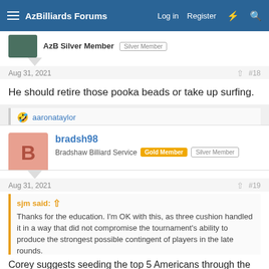AzBilliards Forums — Log in  Register
AzB Silver Member  Silver Member
Aug 31, 2021  #18
He should retire those pooka beads or take up surfing.
aaronataylor
bradsh98
Bradshaw Billiard Service  Gold Member  Silver Member
Aug 31, 2021  #19
sjm said: ↑
Thanks for the education. I'm OK with this, as three cushion handled it in a way that did not compromise the tournament's ability to produce the strongest possible contingent of players in the late rounds.
Corey suggests seeding the top 5 Americans through the top